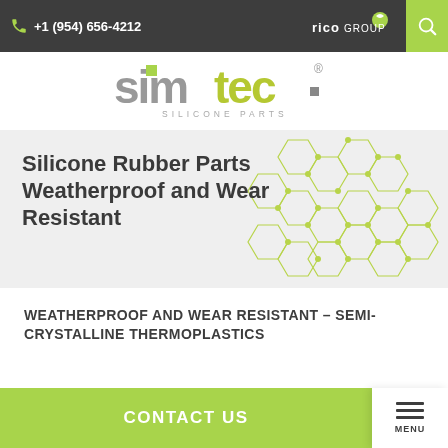+1 (954) 656-4212
[Figure (logo): Simtec Silicone Parts logo with 'sim' in grey and 'tec' in olive/yellow-green, styled lettering with registered trademark symbol, subtitle reads SILICONE PARTS]
[Figure (illustration): Light grey background with decorative hexagonal honeycomb pattern made of thin yellow-green lines with small dot nodes, forming a geometric network pattern on the right side]
Silicone Rubber Parts Weatherproof and Wear Resistant
WEATHERPROOF AND WEAR RESISTANT – SEMI-CRYSTALLINE THERMOPLASTICS
CONTACT US